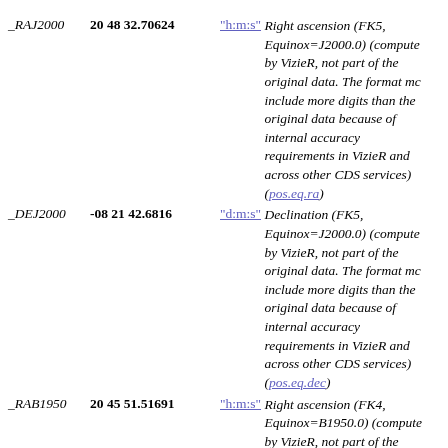_RAJ2000   20 48 32.70624  "h:m:s"  Right ascension (FK5, Equinox=J2000.0) (computed by VizieR, not part of the original data. The format may include more digits than the original data because of internal accuracy requirements in VizieR and across other CDS services) (pos.eq.ra)
_DEJ2000   -08 21 42.6816  "d:m:s"  Declination (FK5, Equinox=J2000.0) (computed by VizieR, not part of the original data. The format may include more digits than the original data because of internal accuracy requirements in VizieR and across other CDS services) (pos.eq.dec)
_RAB1950   20 45 51.51691  "h:m:s"  Right ascension (FK4, Equinox=B1950.0) (computed by VizieR, not part of the original data. The format may include more digits than the original data...